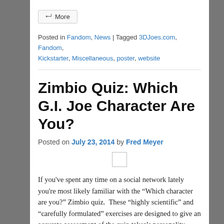More
Posted in Fandom, News | Tagged 3DJoes.com, Fandom, Kickstarter, Miscellaneous, poster, website
Zimbio Quiz: Which G.I. Joe Character Are You?
Posted on July 23, 2014 by Fred Meyer
[Figure (other): Small image placeholder box]
If you've spent any time on a social network lately you're most likely familiar with the “Which character are you?” Zimbio quiz.  These “highly scientific” and “carefully formulated” exercises are designed to give an accurate assessment of the quiz-taker’s personality– helping them to gain true insight into who they really are.
Or, they could just be a lot of fun.  I've taken it twice and